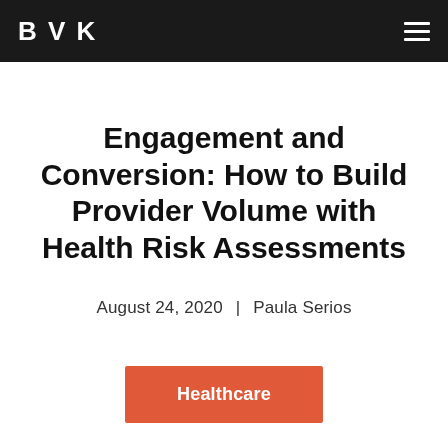BVK
Engagement and Conversion: How to Build Provider Volume with Health Risk Assessments
August 24, 2020  |  Paula Serios
Healthcare